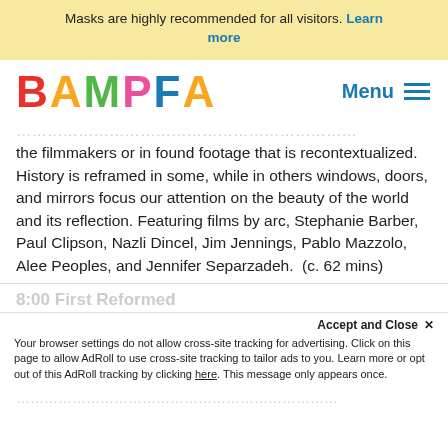Masks are highly recommended for all visitors. Learn more
[Figure (logo): BAMPFA colorful logo with each letter in a different color (red, orange, green, pink, blue, orange)]
the filmmakers or in found footage that is recontextualized. History is reframed in some, while in others windows, doors, and mirrors focus our attention on the beauty of the world and its reflection. Featuring films by arc, Stephanie Barber, Paul Clipson, Nazli Dincel, Jim Jennings, Pablo Mazzolo, Alee Peoples, and Jennifer Separzadeh.  (c. 62 mins)
8:00 First Reformed
Accept and Close ✕
Your browser settings do not allow cross-site tracking for advertising. Click on this page to allow AdRoll to use cross-site tracking to tailor ads to you. Learn more or opt out of this AdRoll tracking by clicking here. This message only appears once.